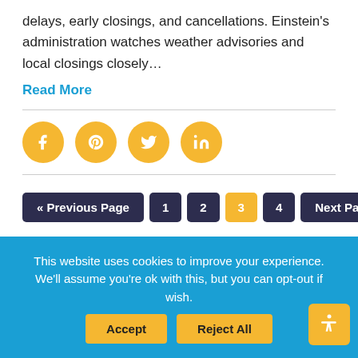delays, early closings, and cancellations. Einstein's administration watches weather advisories and local closings closely…
Read More
[Figure (other): Social media share icons: Facebook, Pinterest, Twitter, LinkedIn — gold circular buttons with white icons]
« Previous Page  1  2  3  4  Next Page »
This website uses cookies to improve your experience. We'll assume you're ok with this, but you can opt-out if you wish.
Accept  Reject All